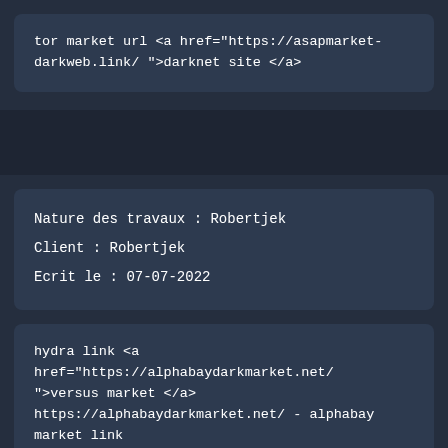tor market url <a href="https://asapmarket-darkweb.link/ ">darknet site </a>
Nature des travaux : Robertjek
Client : Robertjek
Ecrit le : 07-07-2022
hydra link <a href="https://alphabaydarkmarket.net/ ">versus market </a> https://alphabaydarkmarket.net/ - alphabay market link